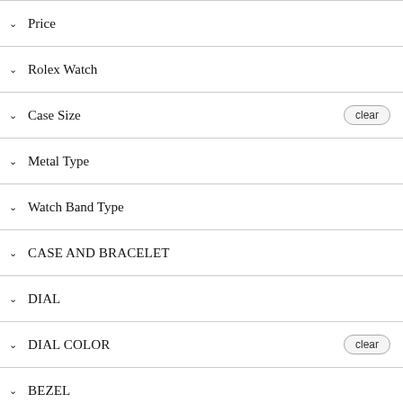Price
Rolex Watch
Case Size — clear
Metal Type
Watch Band Type
CASE AND BRACELET
DIAL
DIAL COLOR — clear
BEZEL
[Figure (photo): Rolex watch with red dial, diamond bezel, two-tone gold and steel bracelet. 30% off badge in red.]
[Figure (photo): Rolex Datejust watch with blue-grey MOP dial, diamond bezel, steel jubilee bracelet. 30% off badge in red.]
Chat now